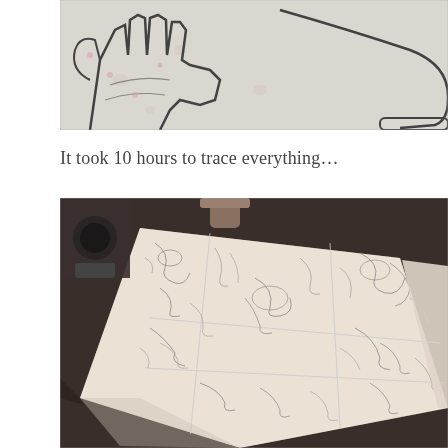[Figure (photo): Close-up photo of a hand being traced on tracing paper, showing outline lines drawn around fingers and palm, with floral patterned fabric visible underneath.]
It took 10 hours to trace everything…
[Figure (photo): Photo of large sheets of tracing paper laid out on a dark surface/table, covered with pencil tracings of detailed artwork or illustrations, showing multiple overlapping traced sections.]